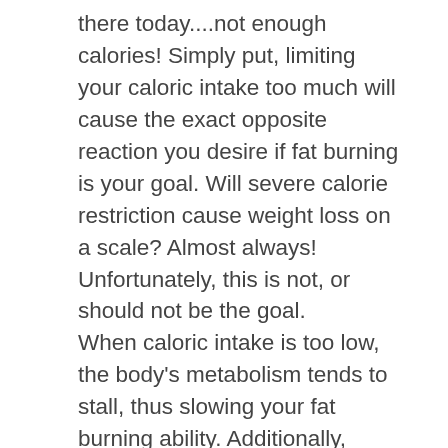there today....not enough calories! Simply put, limiting your caloric intake too much will cause the exact opposite reaction you desire if fat burning is your goal. Will severe calorie restriction cause weight loss on a scale? Almost always! Unfortunately, this is not, or should not be the goal. When caloric intake is too low, the body's metabolism tends to stall, thus slowing your fat burning ability. Additionally, when calories are too limited, protein intake is also typically limited, and this leads to the same scenario described above, catabolism. This fatal mistake often made when someone wants to shed weight is actually bad, times two. They slow their metabolism with a limited caloric intake